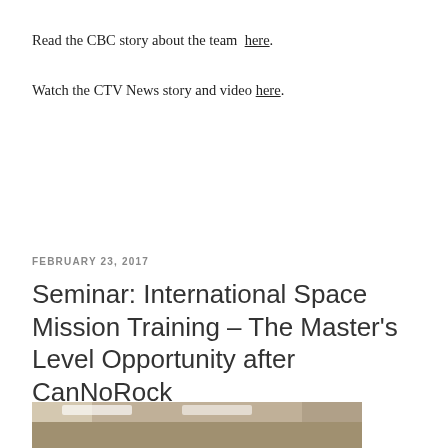Read the CBC story about the team here.
Watch the CTV News story and video here.
FEBRUARY 23, 2017
Seminar: International Space Mission Training – The Master's Level Opportunity after CanNoRock
[Figure (photo): Interior room photo showing ceiling with fluorescent lights and wood-paneled walls]